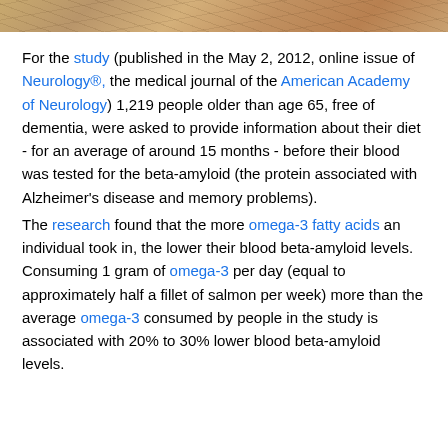[Figure (photo): Textured wood grain or stone surface image at top of page, brownish/tan tones]
For the study (published in the May 2, 2012, online issue of Neurology®, the medical journal of the American Academy of Neurology) 1,219 people older than age 65, free of dementia, were asked to provide information about their diet - for an average of around 15 months - before their blood was tested for the beta-amyloid (the protein associated with Alzheimer's disease and memory problems). The research found that the more omega-3 fatty acids an individual took in, the lower their blood beta-amyloid levels. Consuming 1 gram of omega-3 per day (equal to approximately half a fillet of salmon per week) more than the average omega-3 consumed by people in the study is associated with 20% to 30% lower blood beta-amyloid levels.